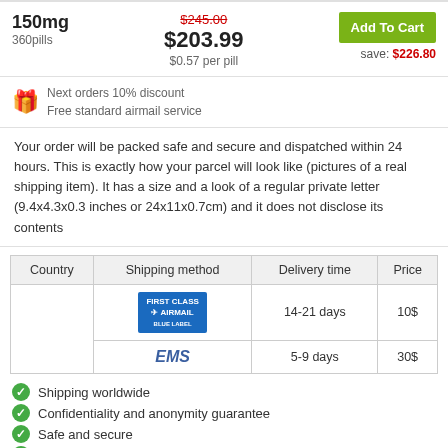150mg
360pills
$245.00
$203.99
$0.57 per pill
Add To Cart
save: $226.80
Next orders 10% discount
Free standard airmail service
Your order will be packed safe and secure and dispatched within 24 hours. This is exactly how your parcel will look like (pictures of a real shipping item). It has a size and a look of a regular private letter (9.4x4.3x0.3 inches or 24x11x0.7cm) and it does not disclose its contents
| Country | Shipping method | Delivery time | Price |
| --- | --- | --- | --- |
|  | [Airmail logo] | 14-21 days | 10$ |
|  | EMS | 5-9 days | 30$ |
Shipping worldwide
Confidentiality and anonymity guarantee
Safe and secure
Discreet looking packages